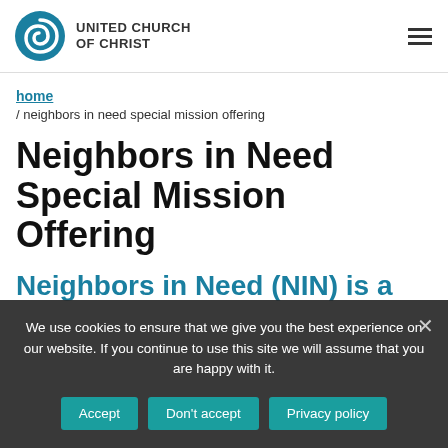[Figure (logo): United Church of Christ logo with spiral icon and text]
home / neighbors in need special mission offering
Neighbors in Need Special Mission Offering
Neighbors in Need (NIN) is a
We use cookies to ensure that we give you the best experience on our website. If you continue to use this site we will assume that you are happy with it.
Accept | Don't accept | Privacy policy